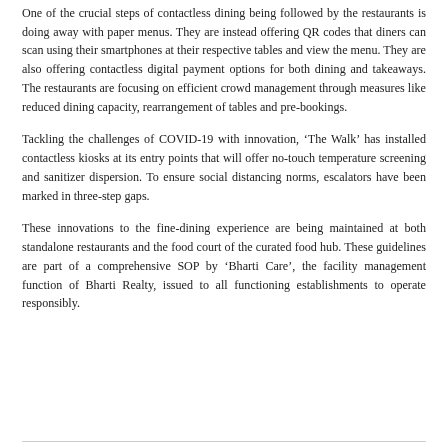One of the crucial steps of contactless dining being followed by the restaurants is doing away with paper menus. They are instead offering QR codes that diners can scan using their smartphones at their respective tables and view the menu. They are also offering contactless digital payment options for both dining and takeaways. The restaurants are focusing on efficient crowd management through measures like reduced dining capacity, rearrangement of tables and pre-bookings.
Tackling the challenges of COVID-19 with innovation, ‘The Walk’ has installed contactless kiosks at its entry points that will offer no-touch temperature screening and sanitizer dispersion. To ensure social distancing norms, escalators have been marked in three-step gaps.
These innovations to the fine-dining experience are being maintained at both standalone restaurants and the food court of the curated food hub. These guidelines are part of a comprehensive SOP by ‘Bharti Care’, the facility management function of Bharti Realty, issued to all functioning establishments to operate responsibly.